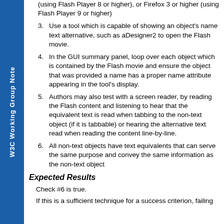(using Flash Player 8 or higher), or Firefox 3 or higher (using Flash Player 9 or higher)
3. Use a tool which is capable of showing an object's name text alternative, such as aDesigner2 to open the Flash movie.
4. In the GUI summary panel, loop over each object which is contained by the Flash movie and ensure the object that was provided a name has a proper name attribute appearing in the tool's display.
5. Authors may also test with a screen reader, by reading the Flash content and listening to hear that the equivalent text is read when tabbing to the non-text object (if it is tabbable) or hearing the alternative text read when reading the content line-by-line.
6. All non-text objects have text equivalents that can serve the same purpose and convey the same information as the non-text object
Expected Results
Check #6 is true.
If this is a sufficient technique for a success criterion, failing